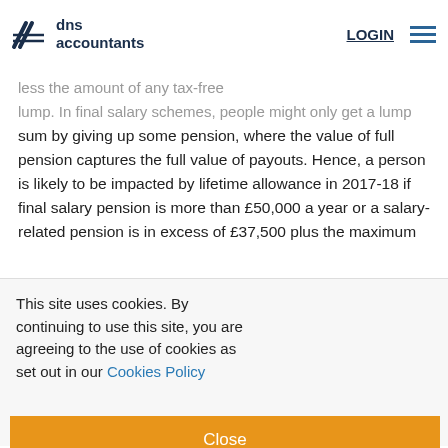dns accountants | LOGIN
by multiplying the expected annual pension by 25, less the amount of any tax-free lump sum. In final salary schemes, people might only get a lump sum by giving up some pension, where the value of full pension captures the full value of payouts. Hence, a person is likely to be impacted by lifetime allowance in 2017-18 if final salary pension is more than £50,000 a year or a salary-related pension is in excess of £37,500 plus the maximum
This site uses cookies. By continuing to use this site, you are agreeing to the use of cookies as set out in our Cookies Policy
ension the s – ner in sum
Close
e
(comparison)